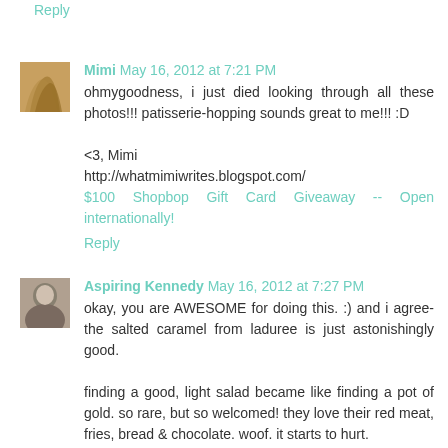Reply
Mimi May 16, 2012 at 7:21 PM
ohmygoodness, i just died looking through all these photos!!! patisserie-hopping sounds great to me!!! :D

<3, Mimi
http://whatmimiwrites.blogspot.com/
$100 Shopbop Gift Card Giveaway -- Open internationally!
Reply
Aspiring Kennedy May 16, 2012 at 7:27 PM
okay, you are AWESOME for doing this. :) and i agree- the salted caramel from laduree is just astonishingly good.

finding a good, light salad became like finding a pot of gold. so rare, but so welcomed! they love their red meat, fries, bread & chocolate. woof. it starts to hurt.